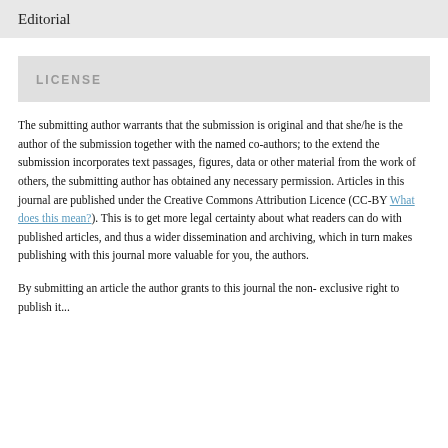Editorial
LICENSE
The submitting author warrants that the submission is original and that she/he is the author of the submission together with the named co-authors; to the extend the submission incorporates text passages, figures, data or other material from the work of others, the submitting author has obtained any necessary permission. Articles in this journal are published under the Creative Commons Attribution Licence (CC-BY What does this mean?). This is to get more legal certainty about what readers can do with published articles, and thus a wider dissemination and archiving, which in turn makes publishing with this journal more valuable for you, the authors.
By submitting an article the author grants to this journal the non-exclusive right to publish it...